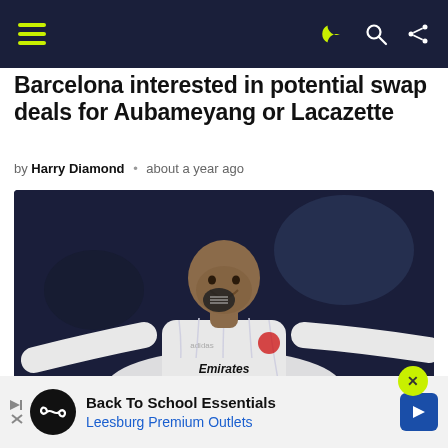Navigation bar with hamburger menu and icons
Barcelona interested in potential swap deals for Aubameyang or Lacazette
by Harry Diamond • about a year ago
[Figure (photo): Arsenal footballer wearing white Emirates FLY BETTER jersey, arms spread out, smiling, dark background]
Back To School Essentials Leesburg Premium Outlets